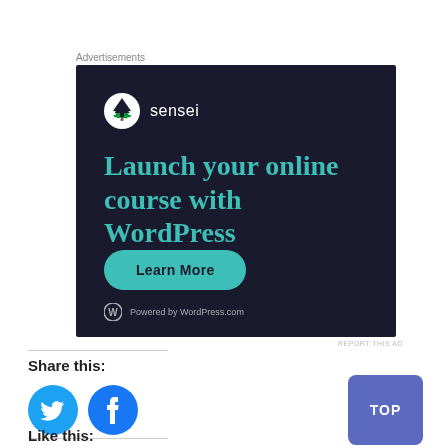Advertisements
[Figure (illustration): Sensei advertisement: dark navy background with Sensei logo (tree icon), headline 'Launch your online course with WordPress' in teal, a teal 'Learn More' pill button, and 'Powered by WordPress.com' footer.]
REPORT THIS AD
Share this:
[Figure (logo): Twitter circle icon (blue)]
[Figure (logo): Facebook circle icon (blue)]
[Figure (other): TOP button (blue-purple rounded square)]
Like this: